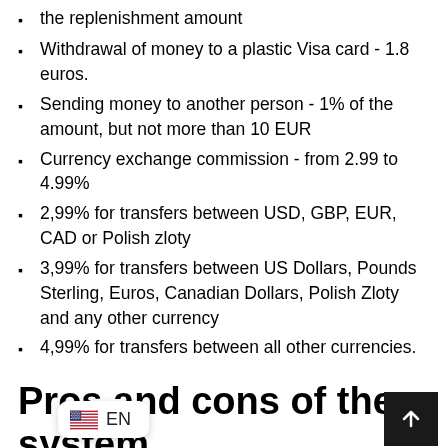the replenishment amount
Withdrawal of money to a plastic Visa card - 1.8 euros.
Sending money to another person - 1% of the amount, but not more than 10 EUR
Currency exchange commission - from 2.99 to 4.99%
2,99% for transfers between USD, GBP, EUR, CAD or Polish zloty
3,99% for transfers between US Dollars, Pounds Sterling, Euros, Canadian Dollars, Polish Zloty and any other currency
4,99% for transfers between all other currencies.
Pros and cons of the system
Pros